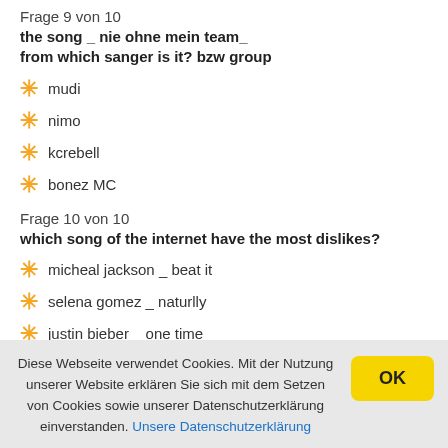Frage 9 von 10
the song _ nie ohne mein team_
from which sanger is it? bzw group
mudi
nimo
kcrebell
bonez MC
Frage 10 von 10
which song of the internet have the most dislikes?
micheal jackson _ beat it
selena gomez _ naturlly
justin bieber _ one time
justin bieber baby
Diese Webseite verwendet Cookies. Mit der Nutzung unserer Website erklären Sie sich mit dem Setzen von Cookies sowie unserer Datenschutzerklärung einverstanden. Unsere Datenschutzerklärung